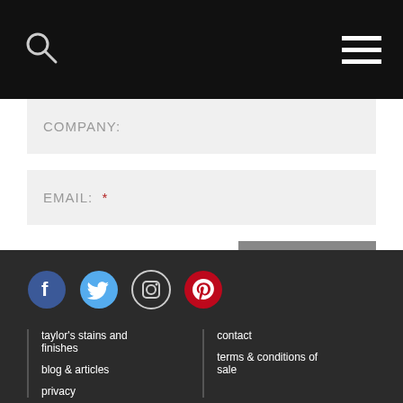Navigation bar with search icon and hamburger menu
COMPANY:
EMAIL:  *
* Mandatory
SUBMIT
[Figure (infographic): Social media icons: Facebook (blue circle), Twitter (light blue circle), Instagram (outline circle), Pinterest (red circle)]
taylor's stains and finishes
blog & articles
privacy
contact
terms & conditions of sale